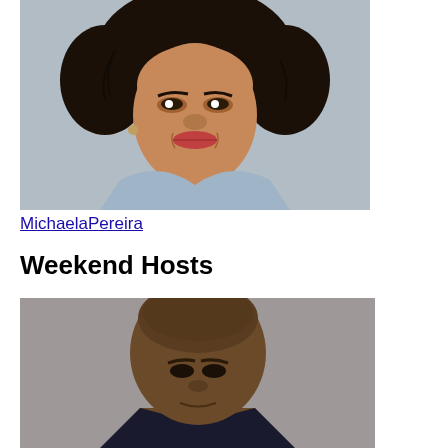[Figure (photo): Professional headshot of Michaela Pereira, a woman with curly dark hair, wearing a light blue wrap top and an orange blouse underneath, smiling at camera against a grey background.]
MichaelaPereira
Weekend Hosts
[Figure (photo): Professional headshot of a bald Black man in a suit, photographed against a grey background, cropped at approximately chin level at the bottom of the page.]